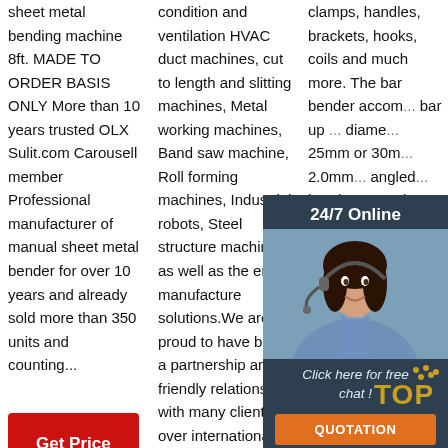sheet metal bending machine 8ft. MADE TO ORDER BASIS ONLY More than 10 years trusted OLX Sulit.com Carousell member Professional manufacturer of manual sheet metal bender for over 10 years and already sold more than 350 units and counting...
[Figure (other): Red 'Get Price' button]
condition and ventilation HVAC duct machines, cut to length and slitting machines, Metal working machines, Band saw machine, Roll forming machines, Industrial robots, Steel structure machines as well as the entire manufacture solutions.We are proud to have built a partnership and friendly relations with many clients all over international ...
clamps, handles, brackets, hooks, coils and much more. The bar bender accom... bar up ... diame... 25mm or 30m... 2.0mm... angled... bende... compl... round circle dies mounted on 13mm shafts and a long angle and short angle bending blocks.
[Figure (other): 24/7 Online chat overlay panel with agent photo, 'Click here for free chat!' text, and QUOTATION button]
[Figure (logo): TOP decorative logo at bottom right]